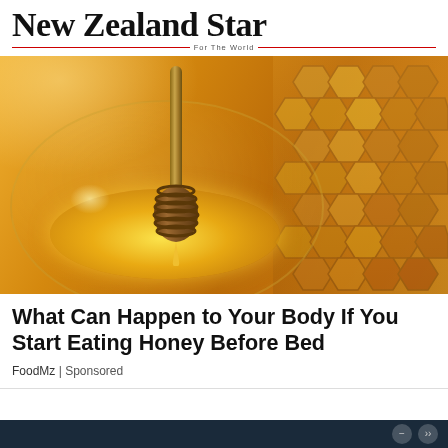New Zealand Star
For The World
[Figure (photo): A glass bowl filled with golden honey, with a wooden honey dipper dripping honey into it, and honeycomb pieces in the background on a warm orange-toned surface.]
What Can Happen to Your Body If You Start Eating Honey Before Bed
FoodMz | Sponsored